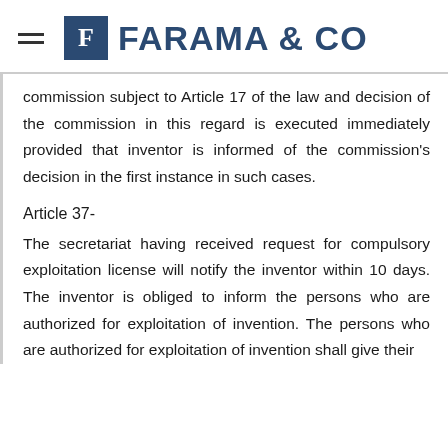FARAMA & CO
commission subject to Article 17 of the law and decision of the commission in this regard is executed immediately provided that inventor is informed of the commission's decision in the first instance in such cases.
Article 37-
The secretariat having received request for compulsory exploitation license will notify the inventor within 10 days. The inventor is obliged to inform the persons who are authorized for exploitation of invention. The persons who are authorized for exploitation of invention shall give their